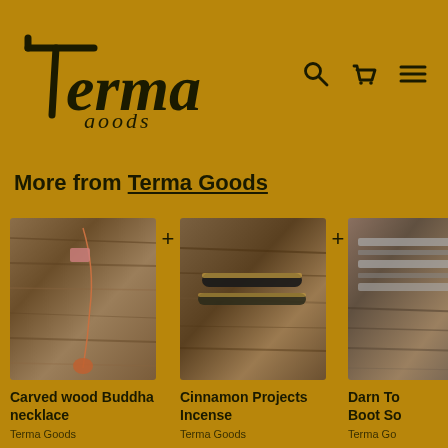[Figure (logo): Terma Goods logo with stylized 't' and italic text]
More from Terma Goods
[Figure (photo): Carved wood Buddha necklace on wooden background]
Carved wood Buddha necklace
Terma Goods
£42.00
[Figure (photo): Cinnamon Projects Incense on wooden background]
Cinnamon Projects Incense
Terma Goods
£22.00
[Figure (photo): Darn Tough Boot Socks partially visible on wooden background]
Darn To... Boot So...
Terma Go...
£22.00